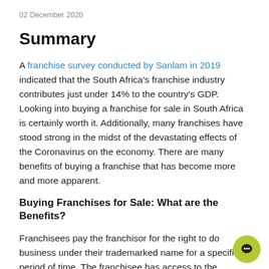02 December 2020
Summary
A franchise survey conducted by Sanlam in 2019 indicated that the South Africa's franchise industry contributes just under 14% to the country's GDP. Looking into buying a franchise for sale in South Africa is certainly worth it. Additionally, many franchises have stood strong in the midst of the devastating effects of the Coronavirus on the economy. There are many benefits of buying a franchise that has become more and more apparent.
Buying Franchises for Sale: What are the Benefits?
Franchisees pay the franchisor for the right to do business under their trademarked name for a specified period of time. The franchisee has access to the franchisor's entire business process, including products and/or services, operating/training manuals, systems, and support facilities, and much more.